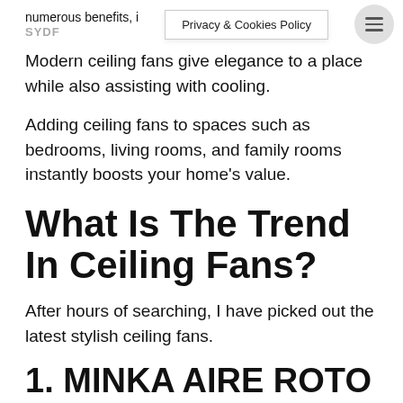numerous benefits, i | Privacy & Cookies Policy | SYDF ≡
Modern ceiling fans give elegance to a place while also assisting with cooling.
Adding ceiling fans to spaces such as bedrooms, living rooms, and family rooms instantly boosts your home's value.
What Is The Trend In Ceiling Fans?
After hours of searching, I have picked out the latest stylish ceiling fans.
1. MINKA AIRE ROTO CEILING FAN